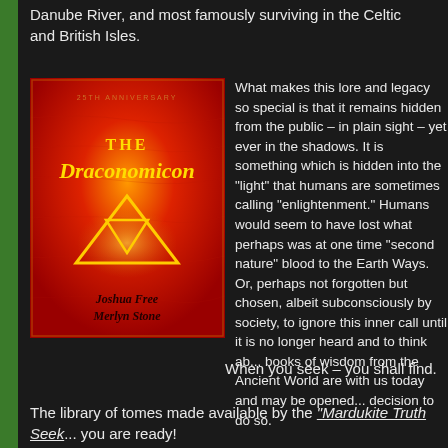Danube River, and most famously surviving in the Celtic and British Isles.
[Figure (illustration): Book cover of 'The Draconomicon' – 25th Anniversary edition by Joshua Free and Merlyn Stone. Red textured background with yellow/gold geometric triangle symbol and ornate title text.]
What makes this lore and legacy so special is that it remains hidden from the public – in plain sight – yet ever in the shadows. It is something which is hidden into the "light" that humans are sometimes calling "enlightenment." Humans would seem to have lost what perhaps was at one time "second nature" blood to the Earth Ways. Or, perhaps not forgotten but chosen, albeit subconsciously by society, to ignore this inner call until it is no longer heard and to think about it... books of wisdom from the Ancient World are with us today and may be opened by the decision to do so.
When you seek – you shall find.
The library of tomes made available by the "Mardukite Truth Seek... you are ready!